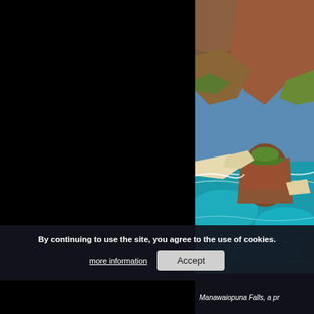[Figure (photo): Aerial photograph of a dramatic Hawaiian coastline with turquoise ocean water, red/brown volcanic rock formations, cliffs, and a small sandy beach. The Na Pali Coast or similar Kauai coastline visible from above.]
By continuing to use the site, you agree to the use of cookies. more information   Accept
Manawaiopuna Falls, a pr